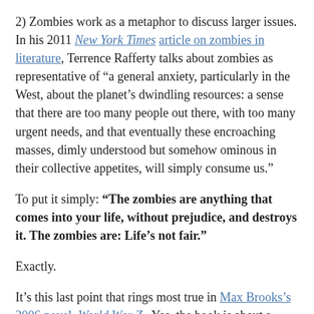2) Zombies work as a metaphor to discuss larger issues. In his 2011 New York Times article on zombies in literature, Terrence Rafferty talks about zombies as representative of “a general anxiety, particularly in the West, about the planet’s dwindling resources: a sense that there are too many people out there, with too many urgent needs, and that eventually these encroaching masses, dimly understood but somehow ominous in their collective appetites, will simply consume us.”
To put it simply: “The zombies are anything that comes into your life, without prejudice, and destroys it. The zombies are: Life’s not fair.”
Exactly.
It’s this last point that rings most true in Max Brooks’s 2006 novel, World War Z.  Yes, the book is about a zombie virus sweeping the globe, but on a larger scale it speaks to the ways in which we, as a world society, would react to any large-scale pandemic of unknown origins. The human response: that’s what